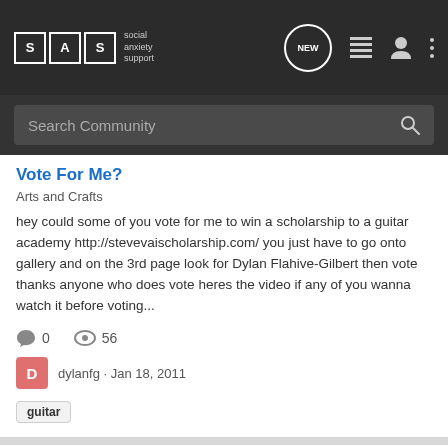SAS social anxiety support — NEW | menu | user | more
Search Community
Vote For Me?
Arts and Crafts
hey could some of you vote for me to win a scholarship to a guitar academy http://stevevaischolarship.com/ you just have to go onto gallery and on the 3rd page look for Dylan Flahive-Gilbert then vote thanks anyone who does vote heres the video if any of you wanna watch it before voting...
0   56
dylanfg · Jan 18, 2011
guitar
Something Good That You have done for Yourself Lately